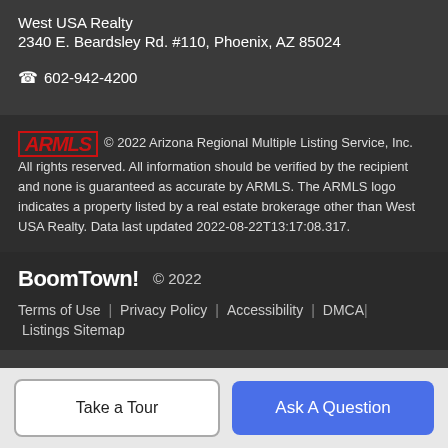West USA Realty
2340 E. Beardsley Rd. #110, Phoenix, AZ 85024
☎ 602-942-4200
© 2022 Arizona Regional Multiple Listing Service, Inc. All rights reserved. All information should be verified by the recipient and none is guaranteed as accurate by ARMLS. The ARMLS logo indicates a property listed by a real estate brokerage other than West USA Realty. Data last updated 2022-08-22T13:17:08.317.
BoomTown!  © 2022
Terms of Use | Privacy Policy | Accessibility | DMCA | Listings Sitemap
Take a Tour
Ask A Question